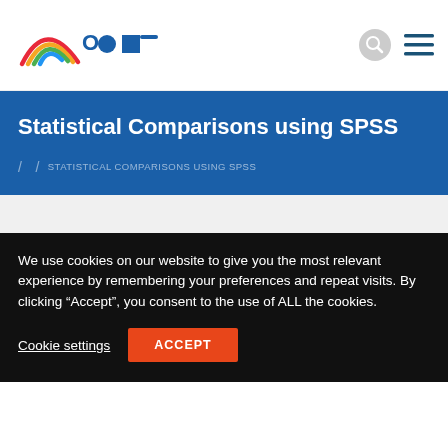[Figure (logo): Rainbow arc logo with red, orange, green, blue arcs, followed by partial blue text logo letters]
[Figure (other): Search icon (circle with magnifying glass) and hamburger menu icon (three horizontal lines) in top right]
Statistical Comparisons using SPSS
/ STATISTICAL COMPARISONS USING SPSS
We use cookies on our website to give you the most relevant experience by remembering your preferences and repeat visits. By clicking “Accept”, you consent to the use of ALL the cookies.
Cookie settings
ACCEPT